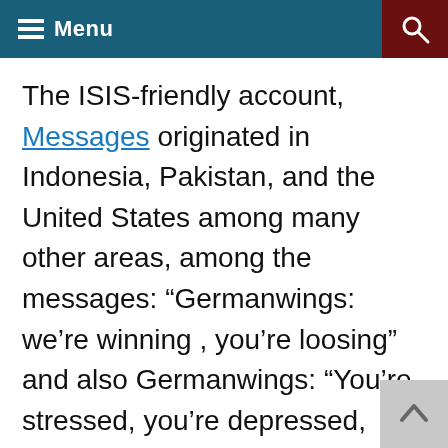Menu
The ISIS-friendly account, Messages originated in Indonesia, Pakistan, and the United States among many other areas, among the messages: “Germanwings: we’re winning , you’re loosing” and also Germanwings: “You’re stressed, you’re depressed, you’re disappointed: Join ISIS”.